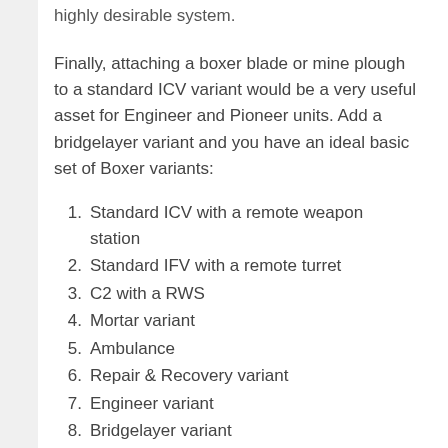highly desirable system.
Finally, attaching a boxer blade or mine plough to a standard ICV variant would be a very useful asset for Engineer and Pioneer units. Add a bridgelayer variant and you have an ideal basic set of Boxer variants:
Standard ICV with a remote weapon station
Standard IFV with a remote turret
C2 with a RWS
Mortar variant
Ambulance
Repair & Recovery variant
Engineer variant
Bridgelayer variant